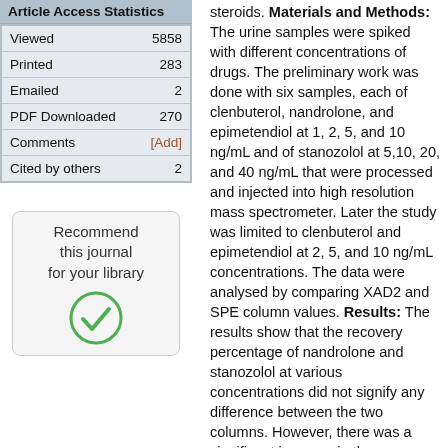| Article Access Statistics |  |
| --- | --- |
| Viewed | 5858 |
| Printed | 283 |
| Emailed | 2 |
| PDF Downloaded | 270 |
| Comments | [Add] |
| Cited by others | 2 |
[Figure (other): Recommend this journal for your library button with green checkmark icon]
steroids. Materials and Methods: The urine samples were spiked with different concentrations of drugs. The preliminary work was done with six samples, each of clenbuterol, nandrolone, and epimetendiol at 1, 2, 5, and 10 ng/mL and of stanozolol at 5,10, 20, and 40 ng/mL that were processed and injected into high resolution mass spectrometer. Later the study was limited to clenbuterol and epimetendiol at 2, 5, and 10 ng/mL concentrations. The data were analysed by comparing XAD2 and SPE column values. Results: The results show that the recovery percentage of nandrolone and stanozolol at various concentrations did not signify any difference between the two columns. However, there was a significant increase in the recovery of clenbuterol at 2 ng/mL ( P <0.002), 5 ng/mL ( P <0.001), and 10 ng/mL ( P <0.001) concentrations, where as for epimetendiol there was significant increase in the recovery at 2, 5, and 10 ng/mL ( P <0.01) with SPE column compared to XAD2 column.